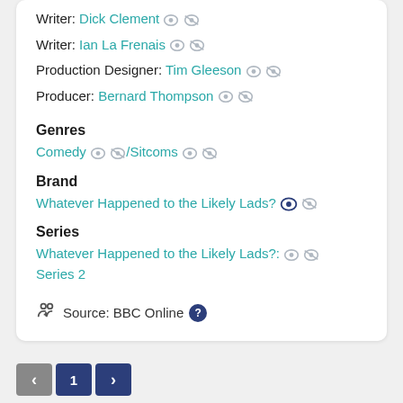Writer: Dick Clement
Writer: Ian La Frenais
Production Designer: Tim Gleeson
Producer: Bernard Thompson
Genres
Comedy / Sitcoms
Brand
Whatever Happened to the Likely Lads?
Series
Whatever Happened to the Likely Lads?: Series 2
Source: BBC Online
1